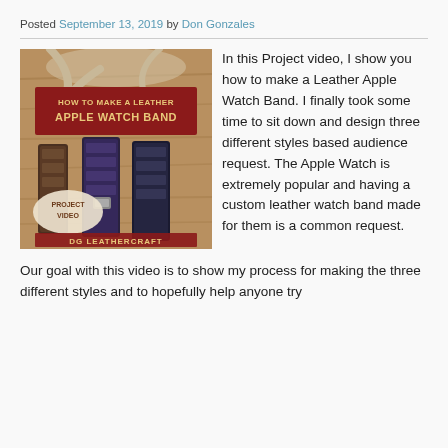Posted September 13, 2019 by Don Gonzales
[Figure (photo): Promotional image for a leathercraft project video titled 'How to Make a Leather Apple Watch Band' by DG LeatherCraft, showing three decorative tooled leather watch bands on a wooden surface.]
In this Project video, I show you how to make a Leather Apple Watch Band.  I finally took some time to sit down and design three different styles based audience request.  The Apple Watch is extremely popular and having a custom leather watch band made for them is a common request.
Our goal with this video is to show my process for making the three different styles and to hopefully help anyone try